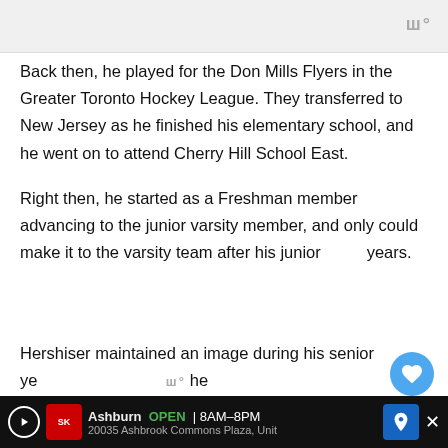Back then, he played for the Don Mills Flyers in the Greater Toronto Hockey League. They transferred to New Jersey as he finished his elementary school, and he went on to attend Cherry Hill School East.
Right then, he started as a Freshman member advancing to the junior varsity member, and only could make it to the varsity team after his junior years.
Hershiser maintained an image during his senior ye...
Ashburn OPEN | 8AM–8PM 20035 Ashbrook Commons Plaza, Unit